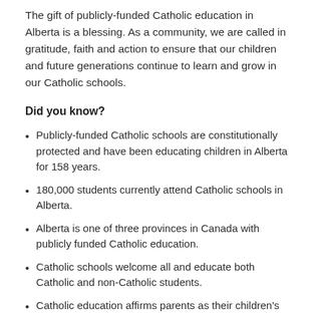The gift of publicly-funded Catholic education in Alberta is a blessing. As a community, we are called in gratitude, faith and action to ensure that our children and future generations continue to learn and grow in our Catholic schools.
Did you know?
Publicly-funded Catholic schools are constitutionally protected and have been educating children in Alberta for 158 years.
180,000 students currently attend Catholic schools in Alberta.
Alberta is one of three provinces in Canada with publicly funded Catholic education.
Catholic schools welcome all and educate both Catholic and non-Catholic students.
Catholic education affirms parents as their children's primary educators and respect the rights